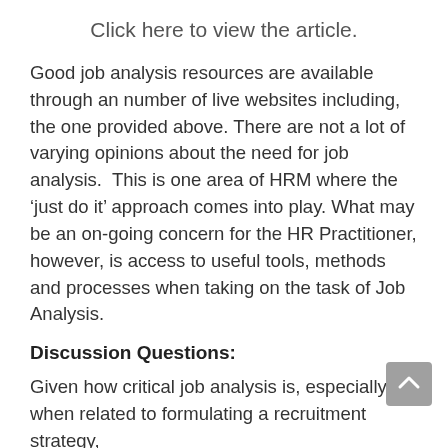Click here to view the article.
Good job analysis resources are available through an number of live websites including, the one provided above. There are not a lot of varying opinions about the need for job analysis.  This is one area of HRM where the ‘just do it’ approach comes into play. What may be an on-going concern for the HR Practitioner, however, is access to useful tools, methods and processes when taking on the task of Job Analysis.
Discussion Questions:
Given how critical job analysis is, especially when related to formulating a recruitment strategy,